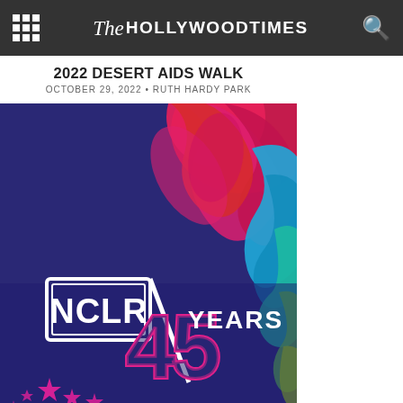The Hollywood Times
2022 DESERT AIDS WALK
OCTOBER 29, 2022 • RUTH HARDY PARK
[Figure (illustration): NCLR 45 Years anniversary logo on dark blue/purple background with colorful floral designs in pink, red, blue, teal, and green. Pink stars in lower left. NCLR in white text inside a rectangle, 45 in large pink outlined numerals, YEARS in white text.]